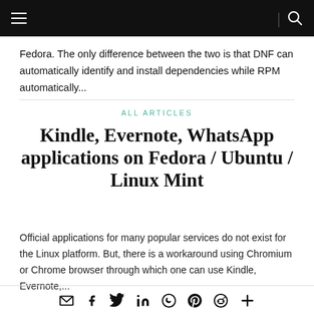Navigation bar with hamburger menu and search icon
Fedora. The only difference between the two is that DNF can automatically identify and install dependencies while RPM automatically...
ALL ARTICLES
Kindle, Evernote, WhatsApp applications on Fedora / Ubuntu / Linux Mint
Official applications for many popular services do not exist for the Linux platform. But, there is a workaround using Chromium or Chrome browser through which one can use Kindle, Evernote,...
Share icons: email, facebook, twitter, linkedin, whatsapp, pinterest, reddit, more